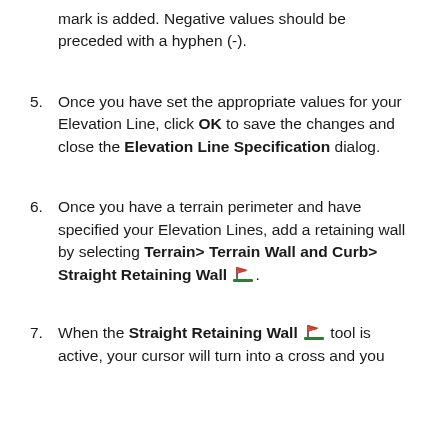mark is added. Negative values should be preceded with a hyphen (-).
Once you have set the appropriate values for your Elevation Line, click OK to save the changes and close the Elevation Line Specification dialog.
Once you have a terrain perimeter and have specified your Elevation Lines, add a retaining wall by selecting Terrain> Terrain Wall and Curb> Straight Retaining Wall [icon].
When the Straight Retaining Wall [icon] tool is active, your cursor will turn into a cross and you